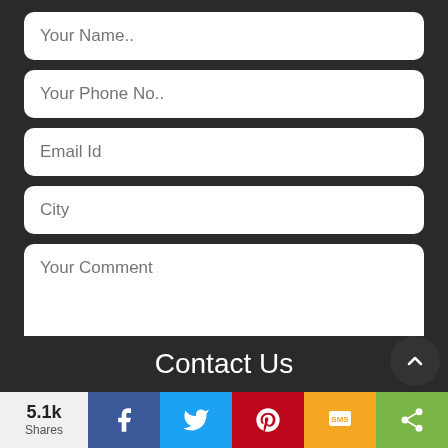[Figure (screenshot): Contact form with fields: Your Name.., Your Phone No.., Email Id, City, Your Comment textarea, and a Submit button on dark background]
Contact Us
5.1k Shares